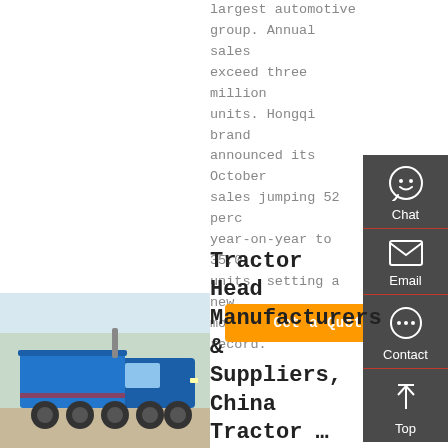largest automotive group. Annual sales exceed three million units. Hongqi brand announced its October sales jumping 52 percent year-on-year to 35,000 units, setting a new monthly sales record.
Get a Quote
[Figure (screenshot): Sidebar with Chat, Email, Contact, Top navigation icons on dark grey background]
[Figure (photo): Blue dump truck / tractor head vehicle parked outdoors]
Tractor Head Manufacturers & Suppliers, China Tractor …